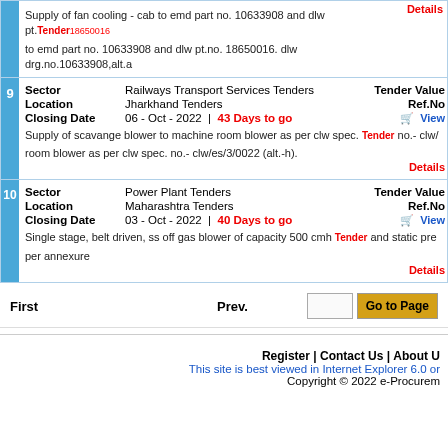| # | Field | Value | Right |
| --- | --- | --- | --- |
|  | Supply of fan cooling - cab to emd part no. 10633908 and dlw pt.no. 18650016 to emd part no. 10633908 and dlw pt.no. 18650016. dlw drg.no.10633908,alt.a |  | Tender Details |
| 9 | Sector | Railways Transport Services Tenders | Tender Value |
| 9 | Location | Jharkhand Tenders | Ref.No |
| 9 | Closing Date | 06 - Oct - 2022  |  43 Days to go | View Tender |
| 9 | Description | Supply of scavange blower to machine room blower as per clw spec. no.- clw/ room blower as per clw spec. no.- clw/es/3/0022 (alt.-h). | Details |
| 10 | Sector | Power Plant Tenders | Tender Value |
| 10 | Location | Maharashtra Tenders | Ref.No |
| 10 | Closing Date | 03 - Oct - 2022  |  40 Days to go | View Tender |
| 10 | Description | Single stage, belt driven, ss off gas blower of capacity 500 cmh and static pre per annexure | Details |
First   Prev.   Go to Page
Register | Contact Us | About U... This site is best viewed in Internet Explorer 6.0 or... Copyright © 2022 e-Procurem...